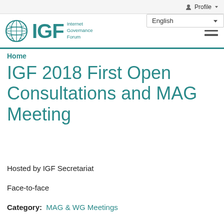IGF – Internet Governance Forum | Profile | English
Home
IGF 2018 First Open Consultations and MAG Meeting
Hosted by IGF Secretariat
Face-to-face
Category: MAG & WG Meetings
The first Open Consultations and Multistakeholder Advisory Group (MAG) meeting of the IGF 2018 preparatory cycle took place from 20-22 March at the headquarters of the International Telecommunication